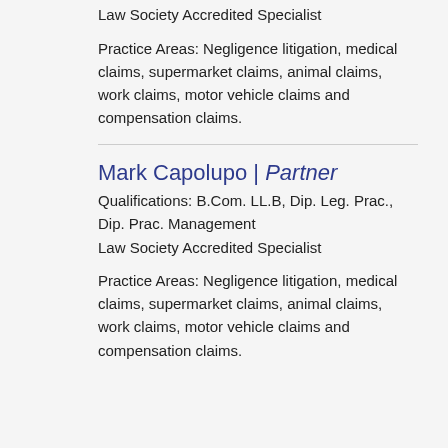Law Society Accredited Specialist
Practice Areas: Negligence litigation, medical claims, supermarket claims, animal claims, work claims, motor vehicle claims and compensation claims.
Mark Capolupo | Partner
Qualifications: B.Com. LL.B, Dip. Leg. Prac., Dip. Prac. Management
Law Society Accredited Specialist
Practice Areas: Negligence litigation, medical claims, supermarket claims, animal claims, work claims, motor vehicle claims and compensation claims.